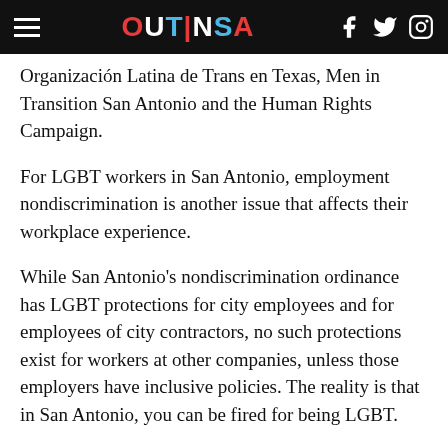OUTINSA
Organización Latina de Trans en Texas, Men in Transition San Antonio and the Human Rights Campaign.
For LGBT workers in San Antonio, employment nondiscrimination is another issue that affects their workplace experience.
While San Antonio's nondiscrimination ordinance has LGBT protections for city employees and for employees of city contractors, no such protections exist for workers at other companies, unless those employers have inclusive policies. The reality is that in San Antonio, you can be fired for being LGBT.
The Queer Corazones panel discussion will address employment nondiscrimination policies and other issues